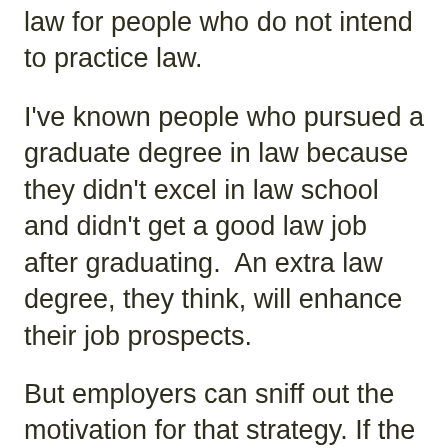law for people who do not intend to practice law.
I've known people who pursued a graduate degree in law because they didn't excel in law school and didn't get a good law job after graduating.  An extra law degree, they think, will enhance their job prospects.
But employers can sniff out the motivation for that strategy. If the job applicant had a brilliant career in law school, that person would probably be pulling down a six-figure salary in a prestigious law firm instead of hanging